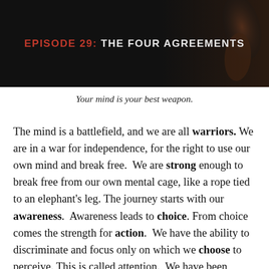[Figure (illustration): Dark banner image with silhouette of raised arm/fist on the right, black background with text overlay reading EPISODE 29: THE FOUR AGREEMENTS]
EPISODE 29: THE FOUR AGREEMENTS
Your mind is your best weapon.
The mind is a battlefield, and we are all warriors. We are in a war for independence, for the right to use our own mind and break free.  We are strong enough to break free from our own mental cage, like a rope tied to an elephant's leg. The journey starts with our awareness.  Awareness leads to choice. From choice comes the strength for action.  We have the ability to discriminate and focus only on which we choose to perceive. This is called attention.  We have been taught a certain way for a long time, but we can make agreements with ourselves in our own way and be whole.